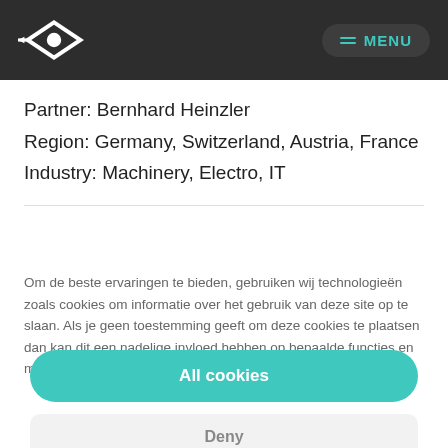MENU
Partner: Bernhard Heinzler
Region: Germany, Switzerland, Austria, France
Industry: Machinery, Electro, IT
Om de beste ervaringen te bieden, gebruiken wij technologieën zoals cookies om informatie over het gebruik van deze site op te slaan. Als je geen toestemming geeft om deze cookies te plaatsen dan kan dit een nadelige invloed hebben op bepaalde functies en mogelijkheden.
All cookies
Deny